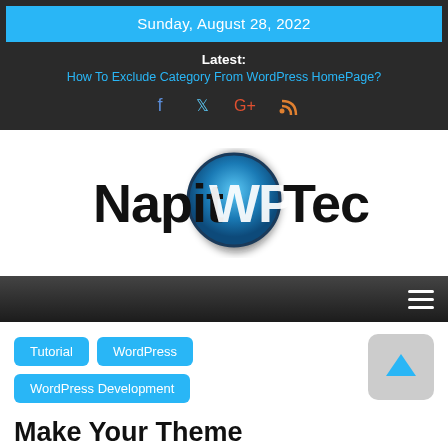Sunday, August 28, 2022
Latest: How To Exclude Category From WordPress HomePage?
[Figure (logo): NapitWPTech logo with blue circle around WP text]
Tutorial
WordPress
WordPress Development
Make Your Theme WooCommerce